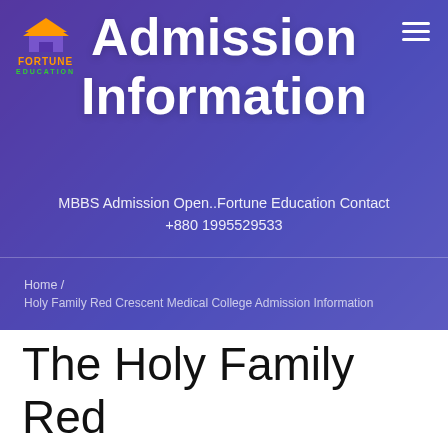[Figure (screenshot): Fortune Education logo with orange house/graduation cap icon, orange FORTUNE text and green EDUCATION text]
Admission Information
MBBS Admission Open..Fortune Education Contact +880 1995529533
Home / Holy Family Red Crescent Medical College Admission Information
The Holy Family Red